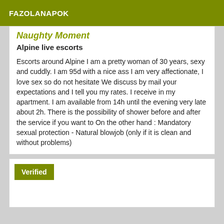FAZOLANAPOK
Naughty Moment
Alpine live escorts
Escorts around Alpine I am a pretty woman of 30 years, sexy and cuddly. I am 95d with a nice ass I am very affectionate, I love sex so do not hesitate We discuss by mail your expectations and I tell you my rates. I receive in my apartment. I am available from 14h until the evening very late about 2h. There is the possibility of shower before and after the service if you want to On the other hand : Mandatory sexual protection - Natural blowjob (only if it is clean and without problems)
Verified